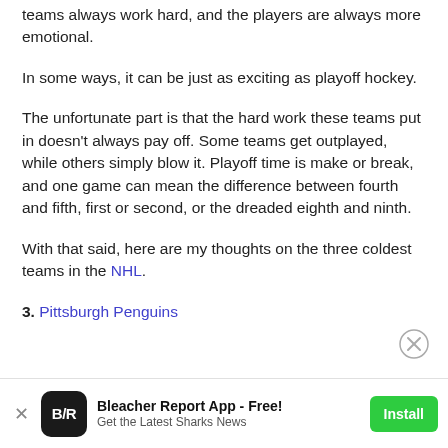teams always work hard, and the players are always more emotional.
In some ways, it can be just as exciting as playoff hockey.
The unfortunate part is that the hard work these teams put in doesn't always pay off. Some teams get outplayed, while others simply blow it. Playoff time is make or break, and one game can mean the difference between fourth and fifth, first or second, or the dreaded eighth and ninth.
With that said, here are my thoughts on the three coldest teams in the NHL.
3. Pittsburgh Penguins
Bleacher Report App - Free! Get the Latest Sharks News